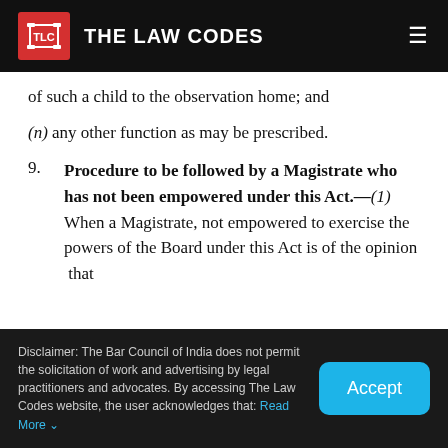THE LAW CODES
of such a child to the observation home; and
(n) any other function as may be prescribed.
9. Procedure to be followed by a Magistrate who has not been empowered under this Act.—(1) When a Magistrate, not empowered to exercise the powers of the Board under this Act is of the opinion that
Disclaimer: The Bar Council of India does not permit the solicitation of work and advertising by legal practitioners and advocates. By accessing The Law Codes website, the user acknowledges that: Read More